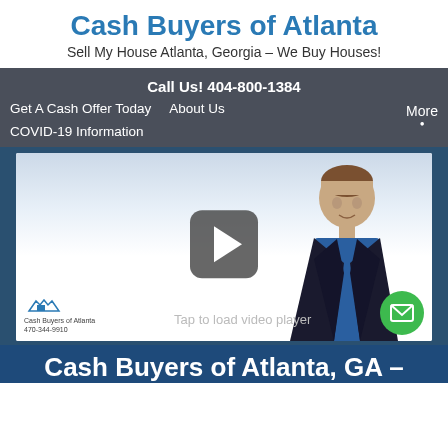Cash Buyers of Atlanta
Sell My House Atlanta, Georgia – We Buy Houses!
Call Us! 404-800-1384
Get A Cash Offer Today   About Us
More
COVID-19 Information
[Figure (screenshot): Video thumbnail showing a man in a dark suit with blue shirt, with a play button overlay. Bottom shows Cash Buyers of Atlanta logo (470-344-9910) and 'Tap to load video player' text. A green email button is in the bottom right.]
Cash Buyers of Atlanta, GA –